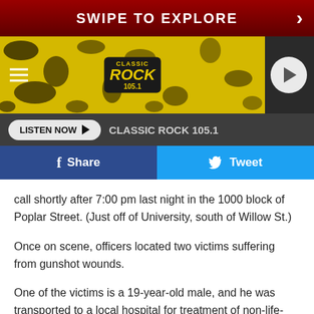SWIPE TO EXPLORE
[Figure (screenshot): Classic Rock 105.1 radio station banner with yellow and black splatter design, hamburger menu icon on left, play button circle on right]
LISTEN NOW ▶   CLASSIC ROCK 105.1
[Figure (infographic): Social sharing buttons: Facebook Share (blue) and Twitter Tweet (cyan)]
call shortly after 7:00 pm last night in the 1000 block of Poplar Street. (Just off of University, south of Willow St.)
Once on scene, officers located two victims suffering from gunshot wounds.
One of the victims is a 19-year-old male, and he was transported to a local hospital for treatment of non-life-threatening injuries.